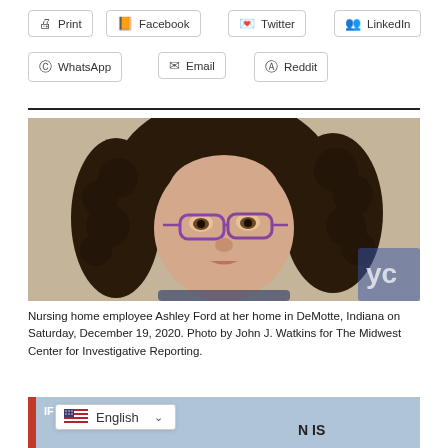Print
Facebook
Twitter
LinkedIn
WhatsApp
Email
Reddit
[Figure (photo): Portrait photo of a young woman with curly dark hair and purple glasses, looking at the camera seriously. She appears to be indoors.]
Nursing home employee Ashley Ford at her home in DeMotte, Indiana on Saturday, December 19, 2020. Photo by John J. Watkins for The Midwest Center for Investigative Reporting.
[Figure (photo): Partial view of a second photo showing a building exterior with what appears to be text, partially obscured by a language selector overlay showing 'English' with a US flag and dropdown arrow.]